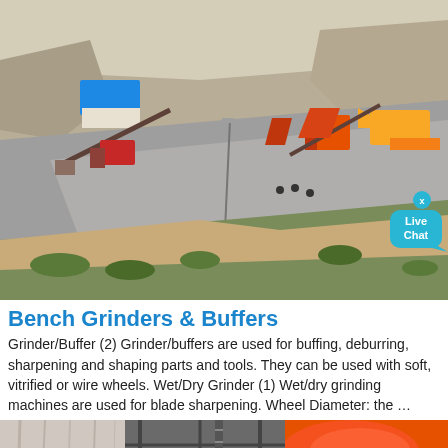[Figure (photo): Aerial view of a quarry/mining site with machinery, conveyor belts, a blue-roofed building, vehicles, and workers on a grey gravel road flanked by rocky terrain and sparse vegetation. A 'Live Chat' badge overlay is visible in the bottom-right corner.]
Bench Grinders & Buffers
Grinder/Buffer (2) Grinder/buffers are used for buffing, deburring, sharpening and shaping parts and tools. They can be used with soft, vitrified or wire wheels. Wet/Dry Grinder (1) Wet/dry grinding machines are used for blade sharpening. Wheel Diameter: the …
[Figure (photo): Close-up photo showing industrial equipment with an orange-colored cylindrical tank/vessel and structural metal frames, partially cropped at the bottom of the page.]